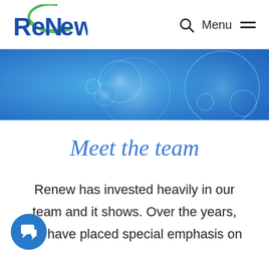[Figure (logo): ReNew company logo with green circular swoosh above the text]
[Figure (screenshot): Navigation bar with search icon, Menu label and hamburger icon]
[Figure (illustration): Blue hero banner with translucent bubble/circle decorations on a gradient blue background]
Meet the team
Renew has invested heavily in our team and it shows. Over the years, we have placed special emphasis on
[Figure (illustration): Blue circular chat/speech bubble icon]